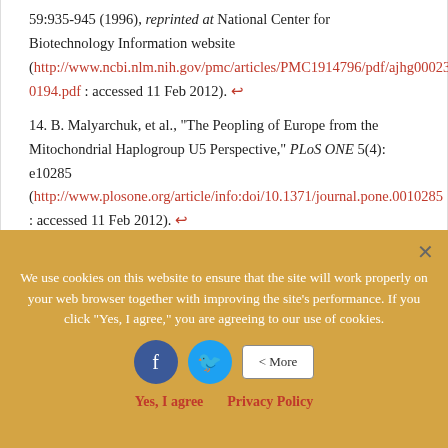59:935-945 (1996), reprinted at National Center for Biotechnology Information website (http://www.ncbi.nlm.nih.gov/pmc/articles/PMC1914796/pdf/ajhg00023-0194.pdf : accessed 11 Feb 2012). ↩
14. B. Malyarchuk, et al., "The Peopling of Europe from the Mitochondrial Haplogroup U5 Perspective," PLoS ONE 5(4): e10285 (http://www.plosone.org/article/info:doi/10.1371/journal.pone.0010285 : accessed 11 Feb 2012). ↩
We use cookies on this website to ensure that the site will work properly on your web browser together with improving the site's performance. If you click "Yes, I agree," you are agreeing to our use of cookies.